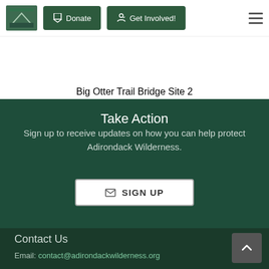[Figure (screenshot): Navigation bar with logo, Donate button, Get Involved! button, and hamburger menu]
[Figure (photo): Hero image strip showing Big Otter Trail Bridge Site 2]
Big Otter Trail Bridge Site 2
Take Action
Sign up to receive updates on how you can help protect Adirondack Wilderness.
SIGN UP
Contact Us
Email: contact@adirondackwilderness.org